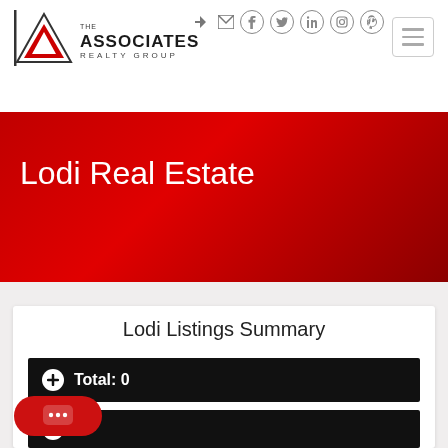The Associates Realty Group - navigation header with social icons and hamburger menu
Lodi Real Estate
Lodi Listings Summary
Total: 0